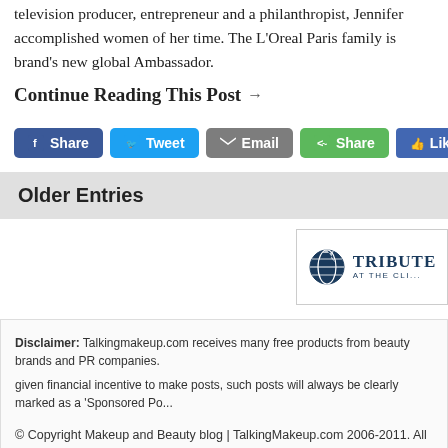television producer, entrepreneur and a philanthropist, Jennifer accomplished women of her time. The L'Oreal Paris family is brand's new global Ambassador.
Continue Reading This Post →
[Figure (screenshot): Social share buttons: Facebook Share, Twitter Tweet, Email, Share, and Like 0 button]
Older Entries
[Figure (logo): Tribute at the CLI logo with globe icon]
Disclaimer: Talkingmakeup.com receives many free products from beauty brands and PR companies. given financial incentive to make posts, such posts will always be clearly marked as a 'Sponsored Po...
© Copyright Makeup and Beauty blog | TalkingMakeup.com 2006-2011. All rights reserved.